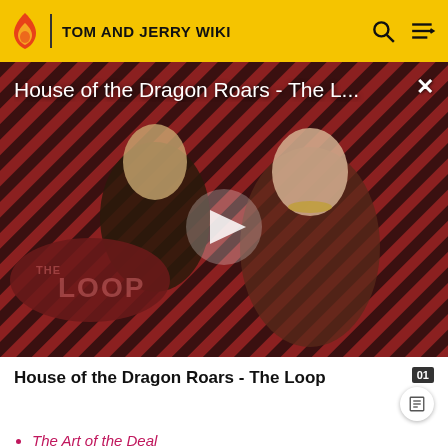TOM AND JERRY WIKI
[Figure (screenshot): Video thumbnail for 'House of the Dragon Roars - The L...' showing two characters from House of the Dragon in front of a red and black diagonal stripe background with 'THE LOOP' branding and a play button overlay.]
House of the Dragon Roars - The Loop
The Art of the Deal
Tom-Fu
Pain for Sale
Prince in Peril / ...